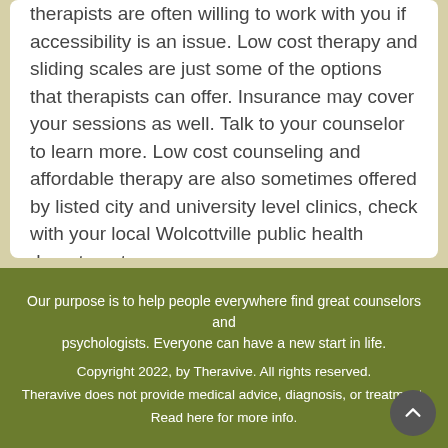therapists are often willing to work with you if accessibility is an issue. Low cost therapy and sliding scales are just some of the options that therapists can offer. Insurance may cover your sessions as well. Talk to your counselor to learn more. Low cost counseling and affordable therapy are also sometimes offered by listed city and university level clinics, check with your local Wolcottville public health department.
Our purpose is to help people everywhere find great counselors and psychologists. Everyone can have a new start in life.
Copyright 2022, by Theravive. All rights reserved.
Theravive does not provide medical advice, diagnosis, or treatment.
Read here for more info.